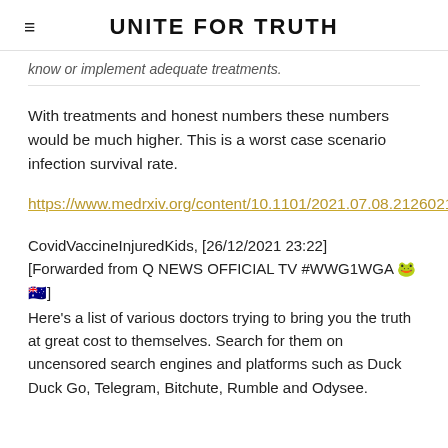UNITE FOR TRUTH
know or implement adequate treatments.
With treatments and honest numbers these numbers would be much higher. This is a worst case scenario infection survival rate.
https://www.medrxiv.org/content/10.1101/2021.07.08.21260210v1
CovidVaccineInjuredKids, [26/12/2021 23:22]
[Forwarded from Q NEWS OFFICIAL TV #WWG1WGA 🐸🇦🇺]
Here's a list of various doctors trying to bring you the truth at great cost to themselves. Search for them on uncensored search engines and platforms such as Duck Duck Go, Telegram, Bitchute, Rumble and Odysee.